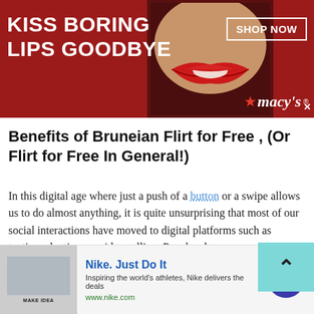[Figure (screenshot): Macy's advertisement banner: dark red background with woman's lips wearing red lipstick, text 'KISS BORING LIPS GOODBYE', 'SHOP NOW' button, Macy's star logo]
Benefits of Bruneian Flirt for Free , (Or Flirt for Free In General!)
In this digital age where just a push of a button or a swipe allows us to do almost anything, it is quite unsurprising that most of our social interactions have moved to digital platforms such as texting, chatting, or video calling. People who crave connection can log onto Talkwithstranger, a site for Bruneian Flirt for Free whenever, and wherever they want.
[Figure (screenshot): Nike advertisement: image of Nike product, 'Nike. Just Do It', 'Inspiring the world's athletes, Nike delivers the deals', 'www.nike.com', with navigation arrow button]